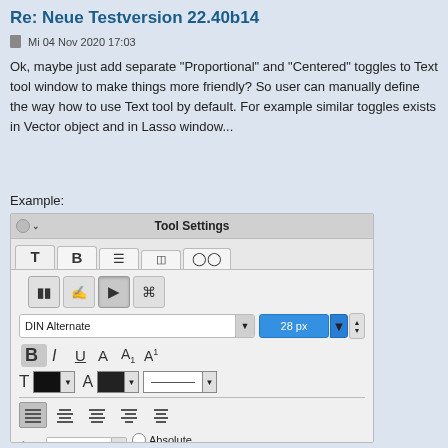Re: Neue Testversion 22.40b14
Mi 04 Nov 2020 17:03
Ok, maybe just add separate "Proportional" and "Centered" toggles to Text tool window to make things more friendly? So user can manually define the way how to use Text tool by default. For example similar toggles exists in Vector object and in Lasso window...
Example:
[Figure (screenshot): Tool Settings panel screenshot showing text formatting toolbar with font selector (DIN Alternate), size (28 px), bold/italic/underline formatting buttons, color swatches, alignment options, and spacing controls with Absolute/Relative radio buttons.]